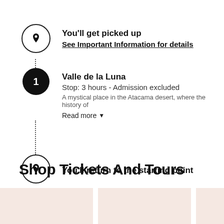You'll get picked up
See Important Information for details
Valle de la Luna
Stop: 3 hours - Admission excluded
A mystical place in the Atacama desert, where the history of
Read more
You'll return to the starting point
Shop Tickets And Tours